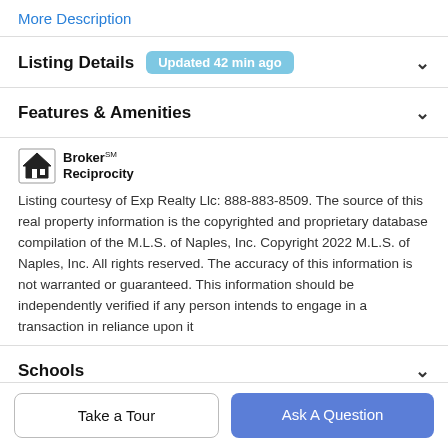More Description
Listing Details  Updated 42 min ago
Features & Amenities
[Figure (logo): Broker Reciprocity logo with house icon]
Listing courtesy of Exp Realty Llc: 888-883-8509. The source of this real property information is the copyrighted and proprietary database compilation of the M.L.S. of Naples, Inc. Copyright 2022 M.L.S. of Naples, Inc. All rights reserved. The accuracy of this information is not warranted or guaranteed. This information should be independently verified if any person intends to engage in a transaction in reliance upon it
Schools
Take a Tour
Ask A Question